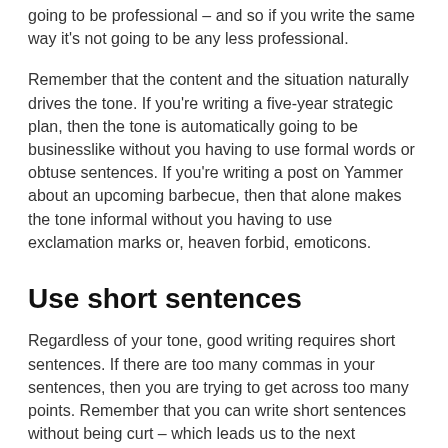going to be professional – and so if you write the same way it's not going to be any less professional.
Remember that the content and the situation naturally drives the tone. If you're writing a five-year strategic plan, then the tone is automatically going to be businesslike without you having to use formal words or obtuse sentences. If you're writing a post on Yammer about an upcoming barbecue, then that alone makes the tone informal without you having to use exclamation marks or, heaven forbid, emoticons.
Use short sentences
Regardless of your tone, good writing requires short sentences. If there are too many commas in your sentences, then you are trying to get across too many points. Remember that you can write short sentences without being curt – which leads us to the next recommendation: